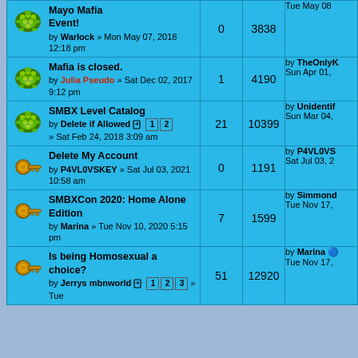| Topic | Replies | Views | Last post |
| --- | --- | --- | --- |
| Mayo Mafia Event! by Warlock » Mon May 07, 2018 12:18 pm | 0 | 3838 | Tue May 08 |
| Mafia is closed. by Julia Pseudo » Sat Dec 02, 2017 9:12 pm | 1 | 4190 | by TheOnlyK Sun Apr 01, |
| SMBX Level Catalog by Delete if Allowed » Sat Feb 24, 2018 3:09 am | 21 | 10399 | by Unidentif Sun Mar 04, |
| Delete My Account by P4VL0VSKEY » Sat Jul 03, 2021 10:58 am | 0 | 1191 | by P4VL0VS Sat Jul 03, 2 |
| SMBXCon 2020: Home Alone Edition by Marina » Tue Nov 10, 2020 5:15 pm | 7 | 1599 | by Simmond Tue Nov 17, |
| Is being Homosexual a choice? by Jerrys mbnworld » Tue | 51 | 12920 | by Marina Tue Nov 17, |